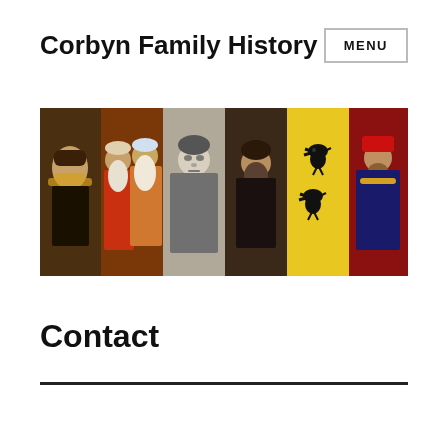Corbyn Family History
[Figure (illustration): A horizontal banner strip with six panels: a Renaissance-era portrait of a man with a ruff collar; two elderly bearded men in colorful robes; a black-and-white photo of a young man in a suit; a dark portrait of a bearded man; a yellow heraldic shield with two black ravens/crows; and a medieval portrait of a man in red hat and ornate clothing.]
Contact